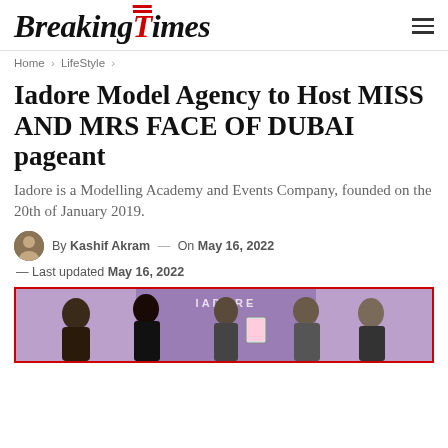BreakingTimes
Home > LifeStyle >
Iadore Model Agency to Host MISS AND MRS FACE OF DUBAI pageant
Iadore is a Modelling Academy and Events Company, founded on the 20th of January 2019.
By Kashif Akram — On May 16, 2022
— Last updated May 16, 2022
[Figure (photo): Group photo at an event showing several people standing in front of a purple backdrop with 'IADORE' text, one person holding a framed item]